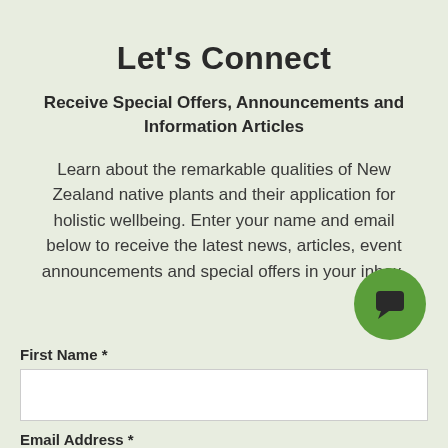Let's Connect
Receive Special Offers, Announcements and Information Articles
Learn about the remarkable qualities of New Zealand native plants and their application for holistic wellbeing. Enter your name and email below to receive the latest news, articles, event announcements and special offers in your inbox.
[Figure (illustration): Green circular chat bubble icon button in the bottom right area]
First Name *
Email Address *